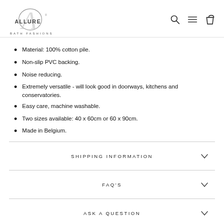[Figure (logo): Allure Bath Fashions logo with stylized A and circular design]
Material: 100% cotton pile.
Non-slip PVC backing.
Noise reducing.
Extremely versatile - will look good in doorways, kitchens and conservatories.
Easy care, machine washable.
Two sizes available: 40 x 60cm or 60 x 90cm.
Made in Belgium.
SHIPPING INFORMATION
FAQ'S
ASK A QUESTION